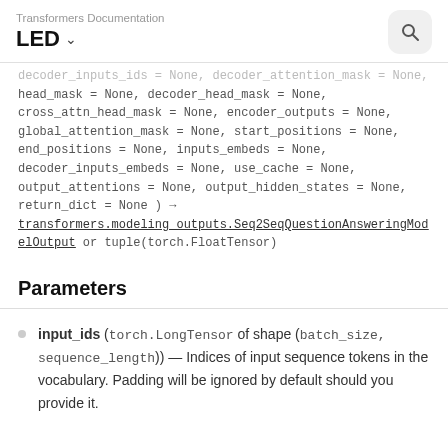Transformers Documentation
LED
decoder_inputs_ids = None, decoder_attention_mask = None, head_mask = None, decoder_head_mask = None, cross_attn_head_mask = None, encoder_outputs = None, global_attention_mask = None, start_positions = None, end_positions = None, inputs_embeds = None, decoder_inputs_embeds = None, use_cache = None, output_attentions = None, output_hidden_states = None, return_dict = None ) → transformers.modeling_outputs.Seq2SeqQuestionAnsweringModelOutput or tuple(torch.FloatTensor)
Parameters
input_ids (torch.LongTensor of shape (batch_size, sequence_length)) — Indices of input sequence tokens in the vocabulary. Padding will be ignored by default should you provide it.